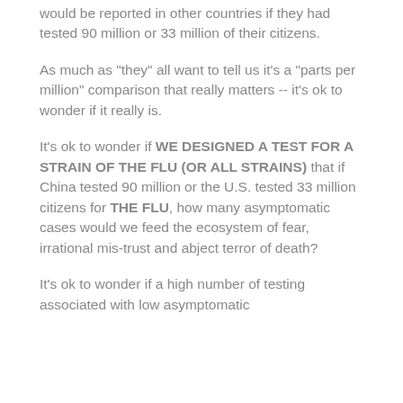would be reported in other countries if they had tested 90 million or 33 million of their citizens.
As much as "they" all want to tell us it's a "parts per million" comparison that really matters -- it's ok to wonder if it really is.
It's ok to wonder if WE DESIGNED A TEST FOR A STRAIN OF THE FLU (OR ALL STRAINS) that if China tested 90 million or the U.S. tested 33 million citizens for THE FLU, how many asymptomatic cases would we feed the ecosystem of fear, irrational mis-trust and abject terror of death?
It's ok to wonder if a high number of testing associated with low asymptomatic